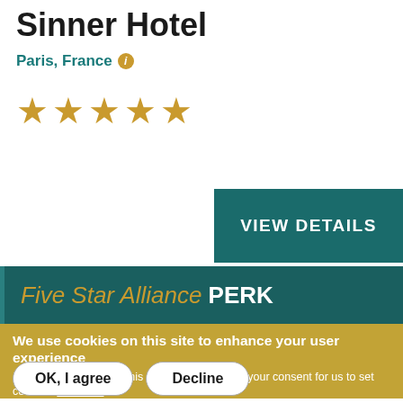Sinner Hotel
Paris, France ℹ
[Figure (other): Five gold star rating icons]
[Figure (other): VIEW DETAILS button in teal]
Five Star Alliance PERK
We use cookies on this site to enhance your user experience
By clicking any link on this page you are giving your consent for us to set cookies. More info
OK, I agree
Decline